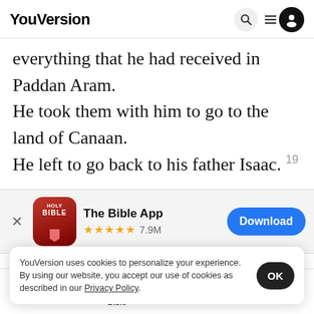YouVersion
everything that he had received in Paddan Aram. He took them with him to go to the land of Canaan. He left to go back to his father Isaac. 19 Before they left, Laban had gone to cut the wool from his sheep. While he was away from the house, Rachel
[Figure (screenshot): App download banner for The Bible App showing app icon, 5 star rating with 7.9M reviews, and a Download button]
Ja
not tell
YouVersion uses cookies to personalize your experience. By using our website, you accept our use of cookies as described in our Privacy Policy.
Home  Bible  Plans  Videos